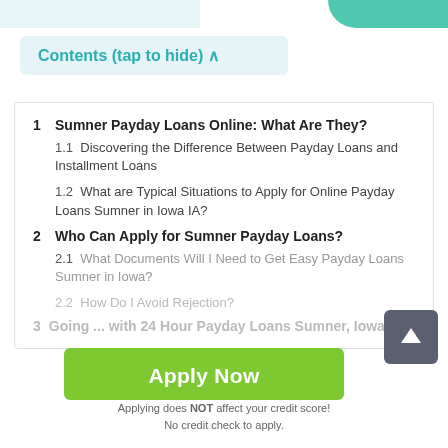Contents (tap to hide) ∧
1  Sumner Payday Loans Online: What Are They?
1.1  Discovering the Difference Between Payday Loans and Installment Loans
1.2  What are Typical Situations to Apply for Online Payday Loans Sumner in Iowa IA?
2  Who Can Apply for Sumner Payday Loans?
2.1  What Documents Will I Need to Get Easy Payday Loans Sumner in Iowa?
2.2  How Do I Avoid Rejection?
3  Going ... with 24 Hour Payday Loans Sumner, Iowa
Apply Now
Applying does NOT affect your credit score! No credit check to apply.